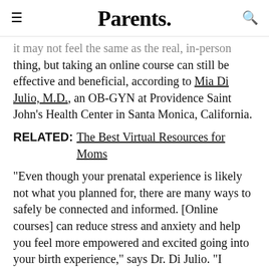Parents.
it may not feel the same as the real, in-person thing, but taking an online course can still be effective and beneficial, according to Mia Di Julio, M.D., an OB-GYN at Providence Saint John's Health Center in Santa Monica, California.
RELATED: The Best Virtual Resources for Moms
"Even though your prenatal experience is likely not what you planned for, there are many ways to safely be connected and informed. [Online courses] can reduce stress and anxiety and help you feel more empowered and excited going into your birth experience," says Dr. Di Julio. "I encourage every family to creatively utilize the